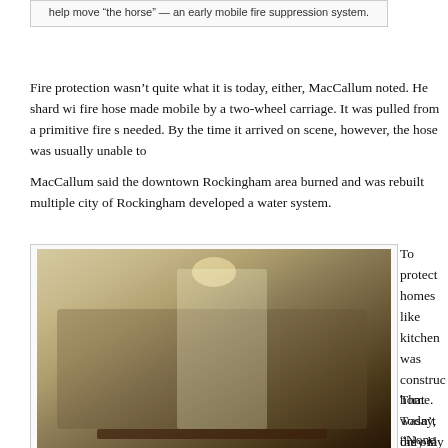help move “the horse” — an early mobile fire suppression system.
Fire protection wasn’t quite what it is today, either, MacCallum noted. He shard wi... fire hose made mobile by a two-wheel carriage. It was pulled from a primitive fire s... needed. By the time it arrived on scene, however, the hose was usually unable to...
MacCallum said the downtown Rockingham area burned and was rebuilt multiple... city of Rockingham developed a water system.
[Figure (photo): Interior room with chandelier, group of children and adults gathered around a table, a man presenting to the group. A white pot is visible on the table.]
Kevin Spradlin | PeeDeePost.com
The white pot on the table was not, Tom MacCallum said, used for cooking.
To protect homes like... kitchen was construc... home. Today, only la... the kitchen once stoo... was staffed by serva... was taken into the ho... keep the heat, and th...
That wasn’t the only... MacCallum was insis... outhouse — a place... alike could relieve th...
“None of the familyw...